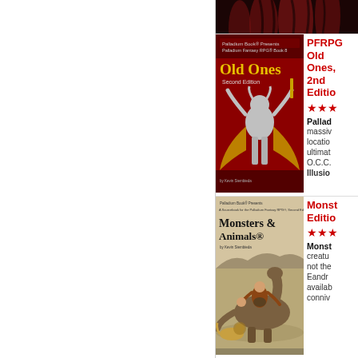[Figure (illustration): Partial view of a book cover with dark red/black fantasy art showing claws or creature parts at top of page, cropped.]
[Figure (illustration): Book cover: Palladium Fantasy RPG Book 8 - Old Ones, Second Edition. Red background with a minotaur-like figure raising arms, holding a weapon, with wings spread.]
PFRPG Old Ones, 2nd Edition
★★★
Palladium Book® Presents massive... locations... ultimate... O.C.C... Illusio...
[Figure (illustration): Book cover: Monsters & Animals, A Sourcebook for the Palladium Fantasy RPG, Second Edition. Shows a warrior riding a large dinosaur-like creature with a lion nearby.]
Monsters & Animals, 2nd Edition
★★★
Monsters & Animals creatures... not the... Eandro... availab... conniv...
[Figure (illustration): Partial view of another book cover at bottom of page, clipped.]